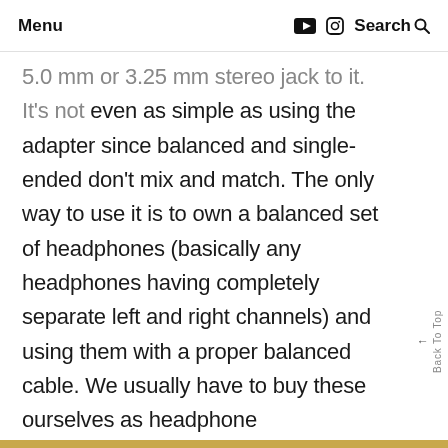Menu | Search
5.0 mm or 3.25 mm stereo jack to it. It's not even as simple as using the adapter since balanced and single-ended don't mix and match. The only way to use it is to own a balanced set of headphones (basically any headphones having completely separate left and right channels) and using them with a proper balanced cable. We usually have to buy these ourselves as headphone manufacturers almost never bundle them with their cans.